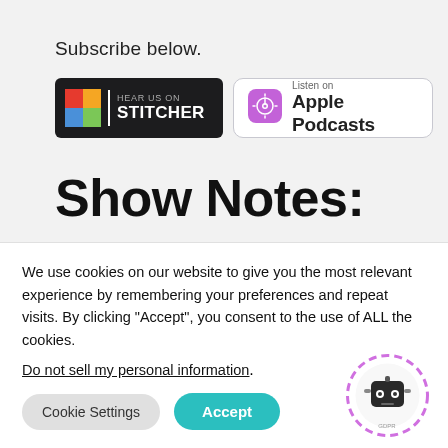Subscribe below.
[Figure (logo): Stitcher podcast badge - dark background with colored squares and text 'HEAR US ON STITCHER']
[Figure (logo): Apple Podcasts badge - white background with purple podcast icon and text 'Listen on Apple Podcasts']
Show Notes:
We use cookies on our website to give you the most relevant experience by remembering your preferences and repeat visits. By clicking "Accept", you consent to the use of ALL the cookies.
Do not sell my personal information.
Cookie Settings   Accept